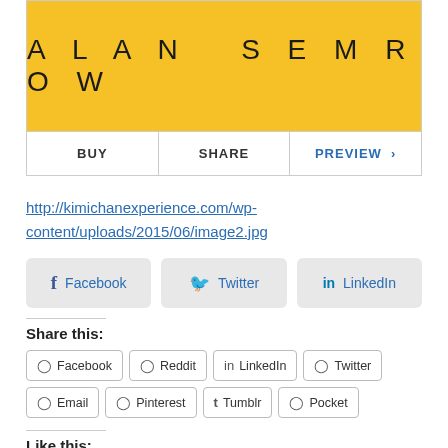[Figure (illustration): Book cover with yellow background and title 'ALAN SEMROW' in large spaced letters, with BUY, SHARE, and PREVIEW action buttons below]
http://kimichanexperience.com/wp-content/uploads/2015/06/image2.jpg
[Figure (infographic): Social share buttons: Facebook, Twitter, LinkedIn (large style)]
Share this:
[Figure (infographic): Share buttons: Facebook, Reddit, LinkedIn, Twitter, Email, Pinterest, Tumblr, Pocket]
Like this: